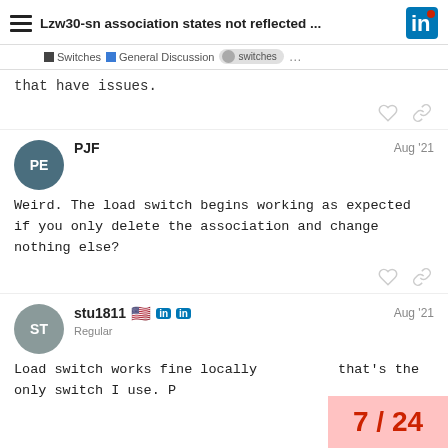Lzw30-sn association states not reflected ...
that have issues.
PJF  Aug '21
Weird. The load switch begins working as expected if you only delete the association and change nothing else?
stu1811  Regular  Aug '21
Load switch works fine locally that's the only switch I use. P